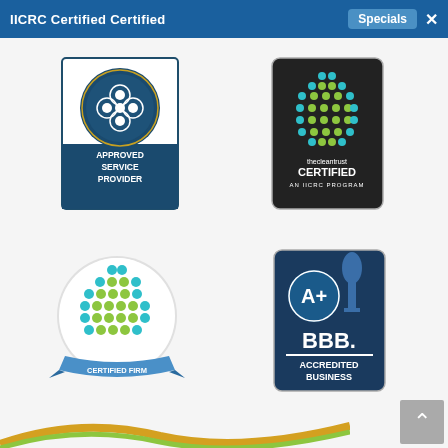IICRC Certified Certified  Specials  ×
[Figure (logo): Carpet and Rug Institute Approved Service Provider badge with a dark navy background, circular seal at top, and text 'APPROVED SERVICE PROVIDER']
[Figure (logo): theCleantrust CERTIFIED AN IICRC PROGRAM badge with dotted globe and dark background]
[Figure (logo): IICRC Certified Firm circular badge with blue-green dotted globe and blue ribbon banner]
[Figure (logo): BBB Accredited Business A+ rating badge with dark blue background]
[Figure (logo): Partial logo visible at bottom of page with yellow/green curved design]